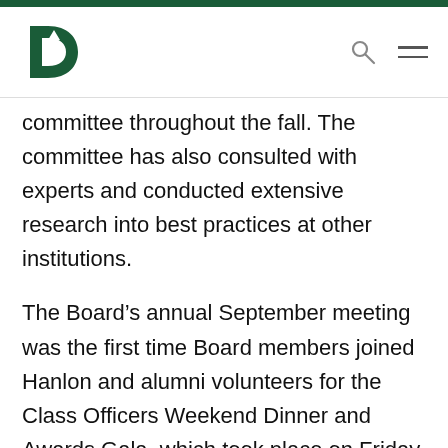Dartmouth College navigation header with logo, search, and menu icons
committee throughout the fall. The committee has also consulted with experts and conducted extensive research into best practices at other institutions.
The Board's annual September meeting was the first time Board members joined Hanlon and alumni volunteers for the Class Officers Weekend Dinner and Awards Gala, which took place on Friday evening.